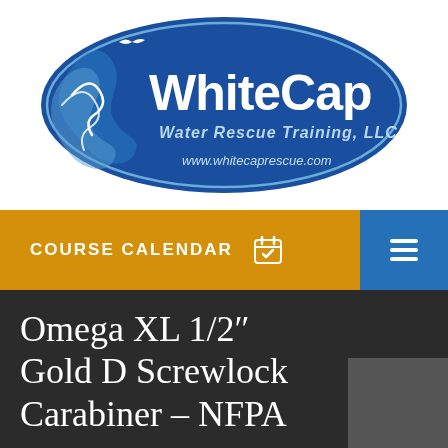[Figure (logo): WhiteCap Water Rescue Training, LLC logo — blue oval with wave graphic and text 'WhiteCap Water Rescue Training, LLC' and 'www.whitecaprescue.com']
COURSE CALENDAR
Omega XL 1/2" Gold D Screwlock Carabiner – NFPA
[Figure (photo): Partially visible product image in dark gray square, bottom right of title section]